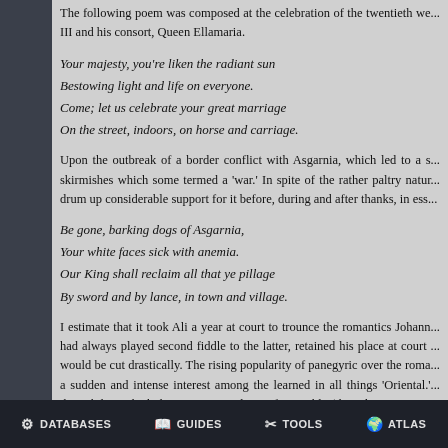The following poem was composed at the celebration of the twentieth we... III and his consort, Queen Ellamaria.
Your majesty, you're liken the radiant sun
Bestowing light and life on everyone.
Come; let us celebrate your great marriage
On the street, indoors, on horse and carriage.
Upon the outbreak of a border conflict with Asgarnia, which led to a s... skirmishes which some termed a 'war.' In spite of the rather paltry natur... drum up considerable support for it before, during and after thanks, in ess...
Be gone, barking dogs of Asgarnia,
Your white faces sick with anemia.
Our King shall reclaim all that ye pillage
By sword and by lance, in town and village.
I estimate that it took Ali a year at court to trounce the romantics Johann... had always played second fiddle to the latter, retained his place at court ... would be cut drastically. The rising popularity of panegyric over the roma... a sudden and intense interest among the learned in all things 'Oriental.'... the nobility, which the press enjoyed most favourably (the sole except...
DATABASES   GUIDES   TOOLS   ATLAS